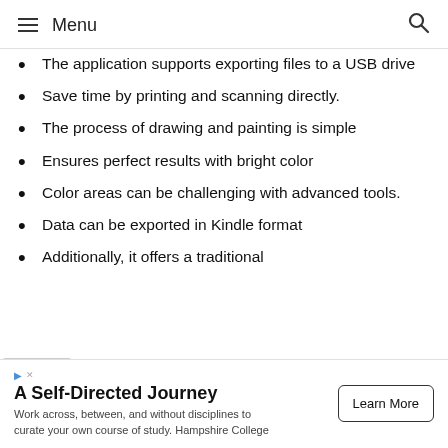Menu
The application supports exporting files to a USB drive
Save time by printing and scanning directly.
The process of drawing and painting is simple
Ensures perfect results with bright color
Color areas can be challenging with advanced tools.
Data can be exported in Kindle format
Additionally, it offers a traditional
A Self-Directed Journey
Work across, between, and without disciplines to curate your own course of study. Hampshire College